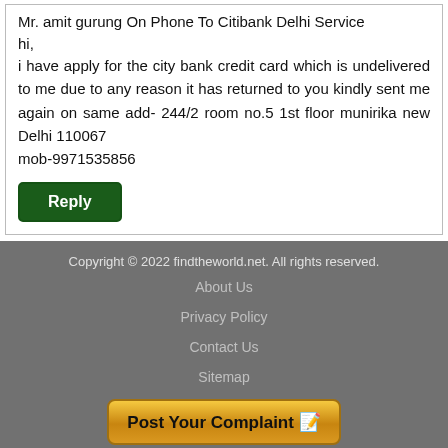Mr. amit gurung On Phone To Citibank Delhi Service
hi,
i have apply for the city bank credit card which is undelivered to me due to any reason it has returned to you kindly sent me again on same add- 244/2 room no.5 1st floor munirika new Delhi 110067
mob-9971535856
Reply
Copyright © 2022 findtheworld.net. All rights reserved.
About Us
Privacy Policy
Contact Us
Sitemap
Post Your Complaint